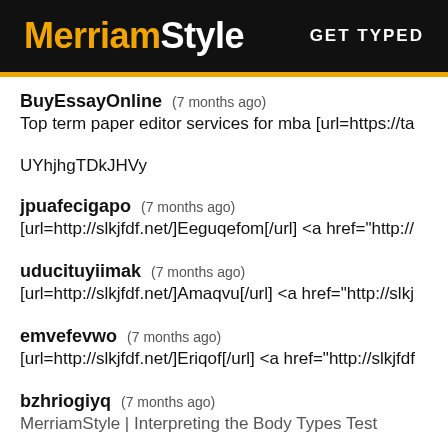MerriamStyle  GET TYPED
BuyEssayOnline  (7 months ago)
Top term paper editor services for mba [url=https://ta
UYhjhgTDkJHVy
jpuafecigapo  (7 months ago)
[url=http://slkjfdf.net/]Eeguqefom[/url] <a href="http://
uducituyiimak  (7 months ago)
[url=http://slkjfdf.net/]Amaqvu[/url] <a href="http://slkj
emvefevwo  (7 months ago)
[url=http://slkjfdf.net/]Eriqof[/url] <a href="http://slkjfdf
bzhriogiyq  (7 months ago)
MerriamStyle | Interpreting the Body Types Test
MerriamStyle | Interpreting the Body Types Test